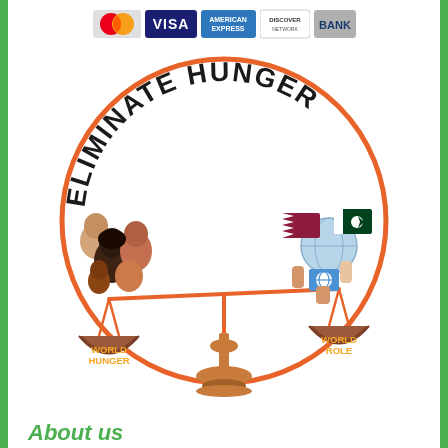[Figure (logo): Payment method logos: MasterCard, VISA, American Express, Discover Network, BANK]
[Figure (illustration): Circular infographic with orange border and text 'ELIMINATE HUNGER' arched at top. Inside is a balance scale: left pan labeled 'WORLD HUNGER' with diverse group of people, right pan labeled 'WORLD ROLE' with hands holding flags (Qatar, Pakistan) and UN logo against globe. Scale base is orange/brown chess piece style.]
About us